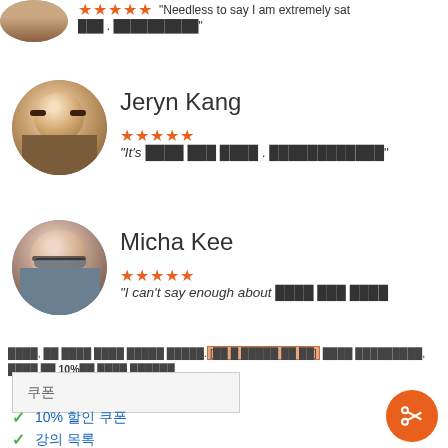[Figure (photo): Circular avatar of a person at the top, partially cropped]
★★★★★ "Needless to say I am extremely sat... . ██████████"
[Figure (photo): Circular profile photo of Jeryn Kang, a young man]
Jeryn Kang
★★★★★ "It's ████ ████ ████ . ████████████"
[Figure (photo): Circular profile photo of Micha Kee, a woman with glasses]
Micha Kee
★★★★★ "I can't say enough about ████ ████ ████
████, ████ ████ ████ ████ ████.[██ █ █████ ██ ██] ████ █████████, ████ ██ 10%██ ████ ██████
| 쿠폰 |
| --- |
10% 할인 쿠폰
강의 목록
Beginning SQL Server 2008 for Visual Basic Devel...